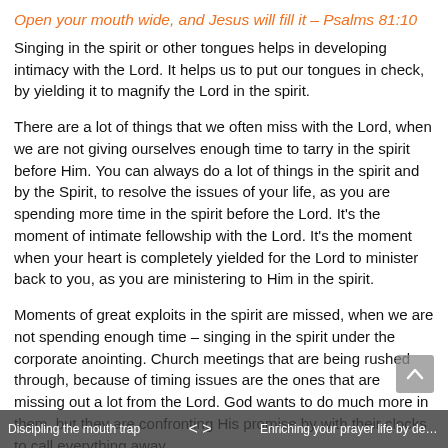Open your mouth wide, and Jesus will fill it – Psalms 81:10
Singing in the spirit or other tongues helps in developing intimacy with the Lord. It helps us to put our tongues in check, by yielding it to magnify the Lord in the spirit.
There are a lot of things that we often miss with the Lord, when we are not giving ourselves enough time to tarry in the spirit before Him. You can always do a lot of things in the spirit and by the Spirit, to resolve the issues of your life, as you are spending more time in the spirit before the Lord. It's the moment of intimate fellowship with the Lord. It's the moment when your heart is completely yielded for the Lord to minister back to you, as you are ministering to Him in the spirit.
Moments of great exploits in the spirit are missed, when we are not spending enough time – singing in the spirit under the corporate anointing. Church meetings that are being rushed through, because of timing issues are the ones that are missing out a lot from the Lord. God wants to do much more in them, but they are confronting His promise by with their clocks to call everything away.
Discipling the mouth trap  < >  Enriching your prayer life by delighti...